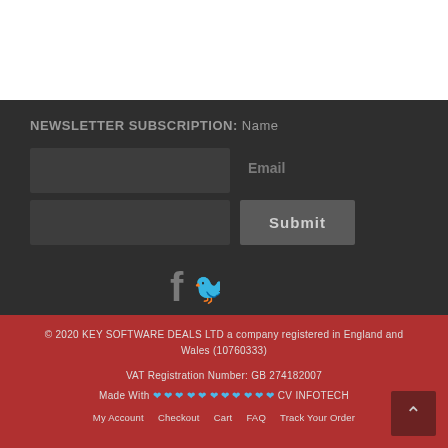NEWSLETTER SUBSCRIPTION: Name
Email
Submit
[Figure (illustration): Facebook and Twitter social media icons in grey]
© 2020 KEY SOFTWARE DEALS LTD a company registered in England and Wales (10760333)

VAT Registration Number: GB 274182007

Made With ❤❤❤❤❤❤❤❤❤❤❤ CV INFOTECH
My Account   Checkout   Cart   FAQ   Track Your Order